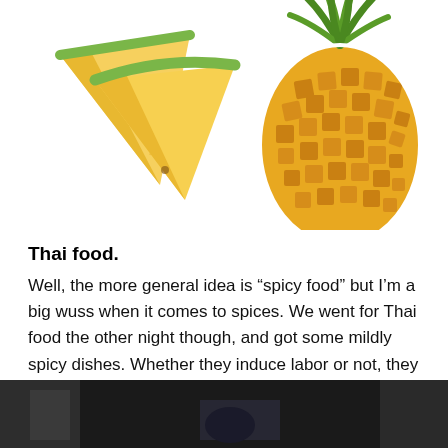[Figure (photo): A pineapple on the right side with two triangular slices of pineapple on the left, on a white background.]
Thai food.
Well, the more general idea is “spicy food” but I’m a big wuss when it comes to spices. We went for Thai food the other night though, and got some mildly spicy dishes. Whether they induce labor or not, they were mighty delicious! Especially since that may have been our last meal out, just the two of us.
[Figure (photo): A dark image, partially visible at the bottom of the page, appears to show a room interior with dark tones.]